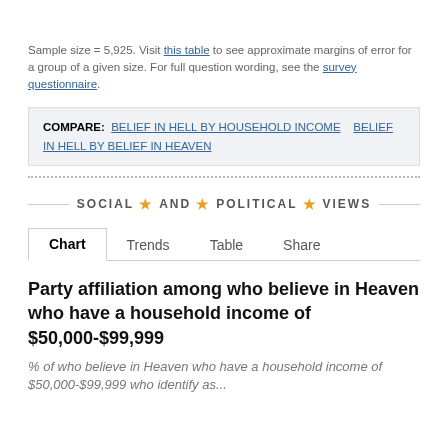Sample size = 5,925. Visit this table to see approximate margins of error for a group of a given size. For full question wording, see the survey questionnaire.
COMPARE: BELIEF IN HELL BY HOUSEHOLD INCOME   BELIEF IN HELL BY BELIEF IN HEAVEN
SOCIAL ★ AND ★ POLITICAL ★ VIEWS
Chart   Trends   Table   Share
Party affiliation among who believe in Heaven who have a household income of $50,000-$99,999
% of who believe in Heaven who have a household income of $50,000-$99,999 who identify as...